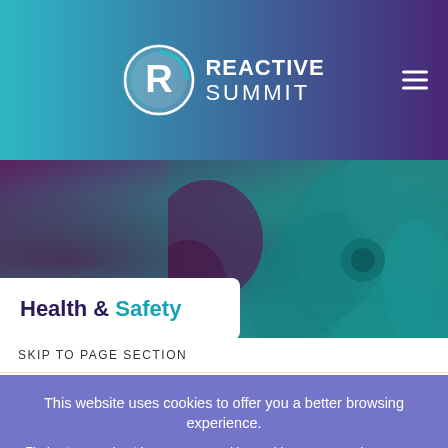[Figure (logo): Reactive Summit logo — circular R icon with teal and white colors, text REACTIVE SUMMIT in white bold letters]
[Figure (photo): Close-up photo of a teal/dark succulent plant with layered petals, dark moody background with purple and teal tones]
Health & Safety
SKIP TO PAGE SECTION
This website uses cookies to offer you a better browsing experience.
Find out more about how we use cookies and how you can change your settings.
Accept